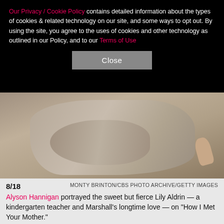Our Privacy / Cookie Policy contains detailed information about the types of cookies & related technology on our site, and some ways to opt out. By using the site, you agree to the uses of cookies and other technology as outlined in our Policy, and to our Terms of Use
Close
[Figure (photo): Close-up photo of a person wearing a grey/beige knit sweater with arms folded, showing a thumb on the right side. Background is a muted brown/grey tone.]
8/18   MONTY BRINTON/CBS PHOTO ARCHIVE/GETTY IMAGES
Alyson Hannigan portrayed the sweet but fierce Lily Aldrin — a kindergarten teacher and Marshall's longtime love — on "How I Met Your Mother."
8/18